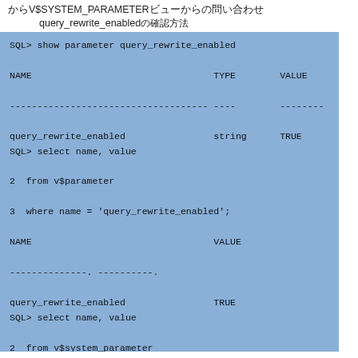からV$SYSTEM_PARAMETERビューからの問い合わせ
　　　query_rewrite_enabledの確認方法
SQL> show parameter query_rewrite_enabled

NAME                                 TYPE        VALUE

------------------------------------ ----------- -----

query_rewrite_enabled                string      TRUE
SQL> select name, value

2  from v$parameter

3  where name = 'query_rewrite_enabled';

NAME                                 VALUE

------------------------------------ ----------

query_rewrite_enabled                TRUE
SQL> select name, value

2  from v$system_parameter

3  where name = 'query_rewrite_enabled';

NAME                                 VALUE

------------------------------------ ----------